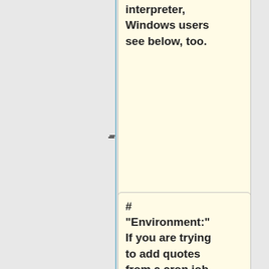'''Finance::Quote''' ('''F::Q''') Perl module and automatically its dependencies. So you will obviously need a '''Perl''' interpreter, Windows users see below, too.
# "Environment:" If you are trying to add quotes from a cron job or a non-X session, you may need to [[Online Quotes